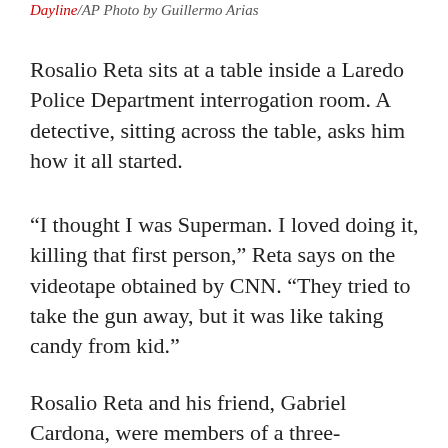Dayline/AP Photo by Guillermo Arias
Rosalio Reta sits at a table inside a Laredo Police Department interrogation room. A detective, sitting across the table, asks him how it all started.
“I thought I was Superman. I loved doing it, killing that first person,” Reta says on the videotape obtained by CNN. “They tried to take the gun away, but it was like taking candy from kid.”
Rosalio Reta and his friend, Gabriel Cardona, were members of a three-